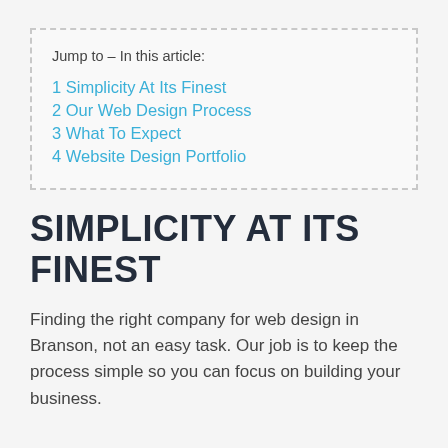Jump to – In this article:
1 Simplicity At Its Finest
2 Our Web Design Process
3 What To Expect
4 Website Design Portfolio
SIMPLICITY AT ITS FINEST
Finding the right company for web design in Branson, not an easy task. Our job is to keep the process simple so you can focus on building your business.